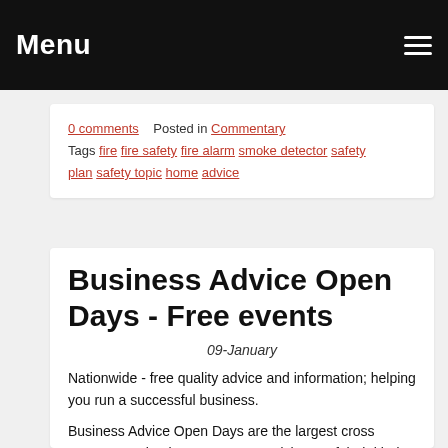Menu
0 comments   Posted in Commentary
Tags fire fire safety fire alarm smoke detector safety plan safety topic home advice
Business Advice Open Days - Free events
09-January
Nationwide - free quality advice and information; helping you run a successful business.
Business Advice Open Days are the largest cross government business support roadshows of their kind, dedicated to providing free information and support to your business.